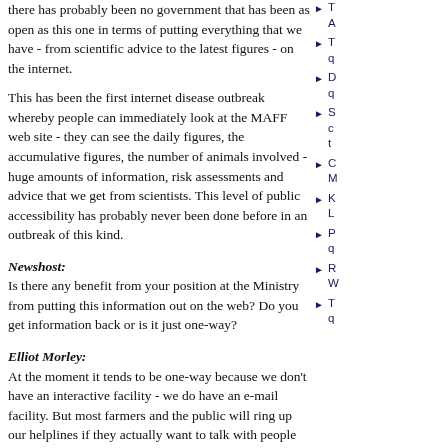there has probably been no government that has been as open as this one in terms of putting everything that we have - from scientific advice to the latest figures - on the internet.
This has been the first internet disease outbreak whereby people can immediately look at the MAFF web site - they can see the daily figures, the accumulative figures, the number of animals involved - huge amounts of information, risk assessments and advice that we get from scientists. This level of public accessibility has probably never been done before in an outbreak of this kind.
Newshost:
Is there any benefit from your position at the Ministry from putting this information out on the web? Do you get information back or is it just one-way?
Elliot Morley:
At the moment it tends to be one-way because we don't have an interactive facility - we do have an e-mail facility. But most farmers and the public will ring up our helplines if they actually want to talk with people and that is advertised on the web. But a lot of people just want information and that information is on the web site. The MAFF web site is now in the top five web sites in the UK for the number of hits it is receiving.